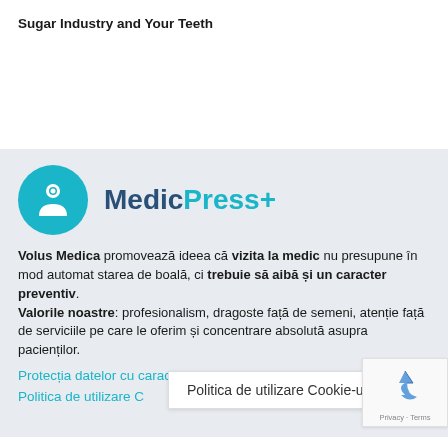Sugar Industry and Your Teeth
[Figure (logo): MedicPress+ logo: teal circle with white medical/doctor icon, followed by bold text 'Medic' in dark blue and 'Press+' in teal]
Volus Medica promovează ideea că vizita la medic nu presupune în mod automat starea de boală, ci trebuie să aibă și un caracter preventiv. Valorile noastre: profesionalism, dragoste față de semeni, atenție față de serviciile pe care le oferim și concentrare absolută asupra pacienților.
Protecția datelor cu caracter personal
Politica de utilizare C...
Politica de utilizare Cookie-uri